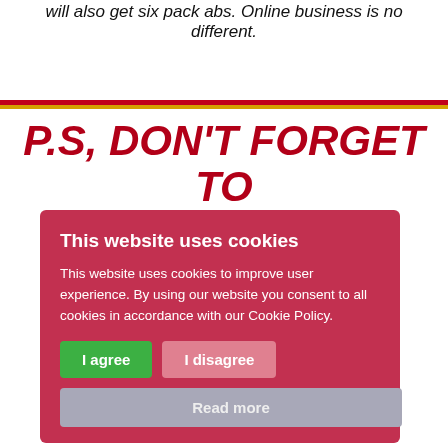will also get six pack abs. Online business is no different.
P.S, DON'T FORGET TO SUBSCRIBE ON YOUTUBE
I regularly upload content to YouTube specifically aimed at helping people move forwards not only in business but life in general. This content is all from my own experience running multiple successful
[Figure (screenshot): Cookie consent modal overlay with title 'This website uses cookies', body text about cookie policy, 'I agree' green button, 'I disagree' pink button, and 'Read more' grey button.]